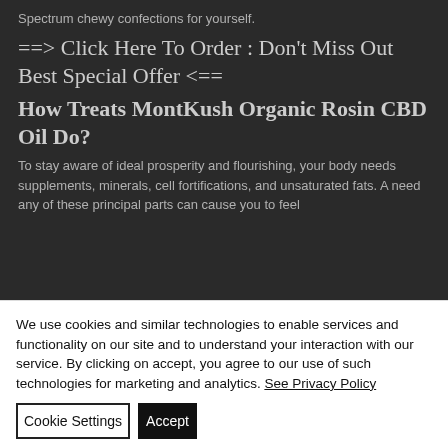Spectrum chewy confections for yourself.
==> Click Here To Order : Don't Miss Out Best Special Offer <==
How Treats MontKush Organic Rosin CBD Oil Do?
To stay aware of ideal prosperity and flourishing, your body needs supplements, minerals, cell fortifications, and unsaturated fats. A need any of these principal parts can cause you to feel
We use cookies and similar technologies to enable services and functionality on our site and to understand your interaction with our service. By clicking on accept, you agree to our use of such technologies for marketing and analytics. See Privacy Policy
Cookie Settings
Accept